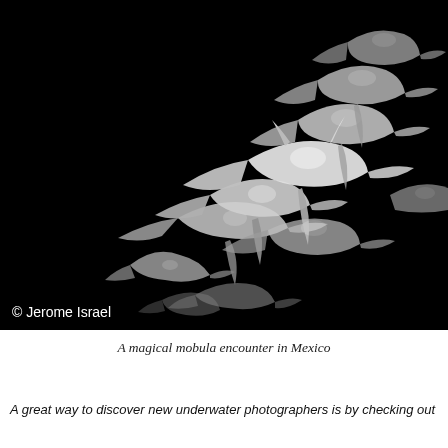[Figure (photo): Black and white underwater photograph of a school of mobula rays swimming together against a dark black background. The rays are illuminated from below, showing their white undersides and wing-like pectoral fins in dramatic contrast. Multiple rays are visible at various depths and angles, creating a swirling formation. Copyright mark '© Jerome Israel' in white text at the bottom left of the image.]
A magical mobula encounter in Mexico
A great way to discover new underwater photographers is by checking out...